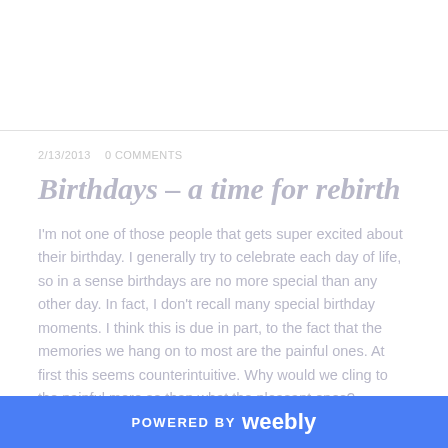2/13/2013   0 COMMENTS
Birthdays – a time for rebirth
I'm not one of those people that gets super excited about their birthday. I generally try to celebrate each day of life, so in a sense birthdays are no more special than any other day. In fact, I don't recall many special birthday moments. I think this is due in part, to the fact that the memories we hang on to most are the painful ones. At first this seems counterintuitive. Why would we cling to the painful more so than what the pleasant ones? Actually, we are programmed to hold the things that hurt us in candent, these are commonly referred impressions, once within our subtle body as they can heal deep...
POWERED BY weebly